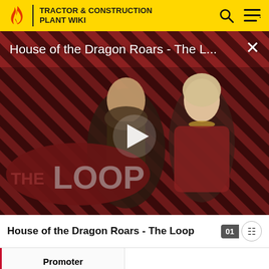TRACTOR & CONSTRUCTION PLANT WIKI
[Figure (screenshot): Video thumbnail for 'House of the Dragon Roars - The L...' showing two characters from House of the Dragon on a diagonal stripe background with THE LOOP branding and a play button overlay.]
House of the Dragon Roars - The Loop
|  |  |
| --- | --- |
| Promoter |  |
| Organisers | Kettering Rally Committee |